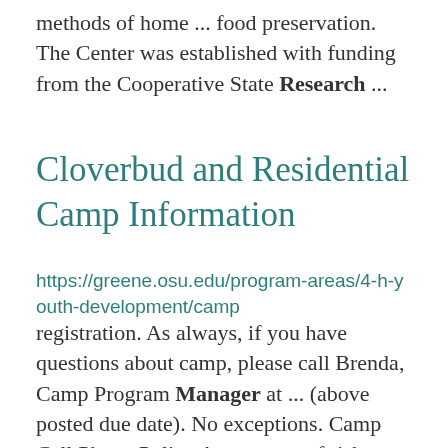methods of home ... food preservation. The Center was established with funding from the Cooperative State Research ...
Cloverbud and Residential Camp Information
https://greene.osu.edu/program-areas/4-h-youth-development/camp
registration. As always, if you have questions about camp, please call Brenda, Camp Program Manager at ... (above posted due date). No exceptions. Camp Cell Phone Policy As a means of risk management, youth ...